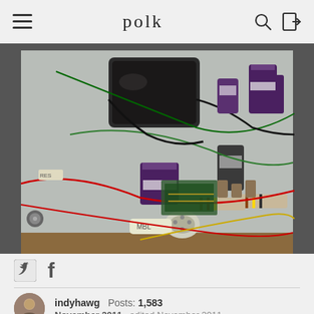polk
[Figure (photo): Interior view of an electronic amplifier or audio equipment showing capacitors, resistors, transformer, vacuum tube socket, wiring harness with red, green, yellow, and black wires on a metal chassis]
[Figure (other): Social sharing icons: Twitter bird icon and Facebook f icon]
indyhawg  Posts: 1,583  November 2011  edited November 2011